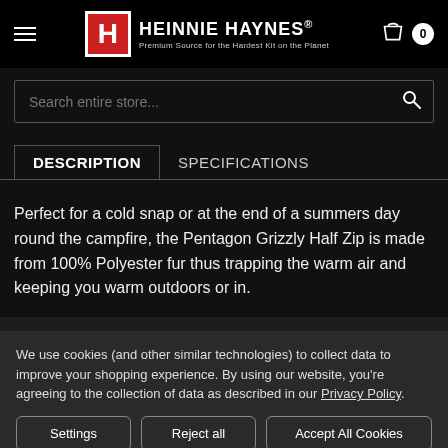[Figure (logo): Heinnie Haynes logo with red H box icon and text 'HEINNIE HAYNES® Premium Source for the Hardest Kit on the Planet']
Search entire store...
DESCRIPTION | SPECIFICATIONS
Perfect for a cold snap or at the end of a summers day round the campfire, the Pentagon Grizzly Half Zip is made from 100% Polyester fur thus trapping the warm air and keeping you warm outdoors or in.
We use cookies (and other similar technologies) to collect data to improve your shopping experience. By using our website, you're agreeing to the collection of data as described in our Privacy Policy.
Settings | Reject all | Accept All Cookies